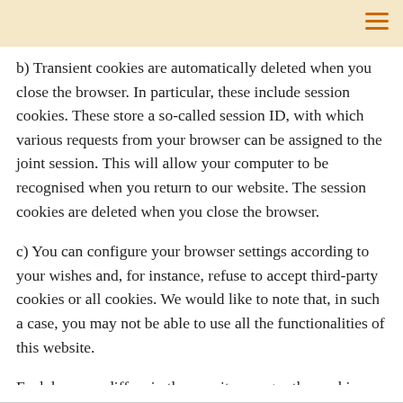b) Transient cookies are automatically deleted when you close the browser. In particular, these include session cookies. These store a so-called session ID, with which various requests from your browser can be assigned to the joint session. This will allow your computer to be recognised when you return to our website. The session cookies are deleted when you close the browser.
c) You can configure your browser settings according to your wishes and, for instance, refuse to accept third-party cookies or all cookies. We would like to note that, in such a case, you may not be able to use all the functionalities of this website.
Each browser differs in the way it manages the cookie settings. This is described in the help menu of each browser which explains how to change your cookie settings. These can be found for the respective browsers under the following links: